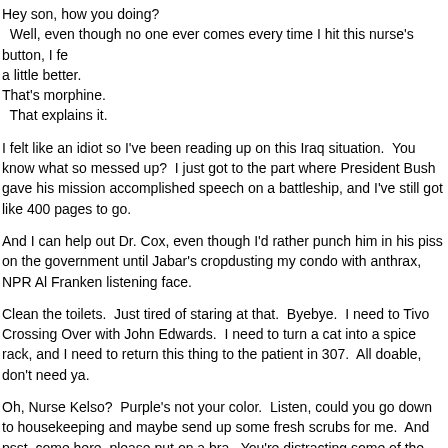Hey son, how you doing?
  Well, even though no one ever comes every time I hit this nurse's button, I fe a little better.
That's morphine.
  That explains it.
I felt like an idiot so I've been reading up on this Iraq situation.  You know what so messed up?  I just got to the part where President Bush gave his mission accomplished speech on a battleship, and I've still got like 400 pages to go.
And I can help out Dr. Cox, even though I'd rather punch him in his piss on the government until Jabar's cropdusting my condo with anthrax, NPR Al Franken listening face.
Clean the toilets.  Just tired of staring at that.  Byebye.  I need to Tivo Crossing Over with John Edwards.  I need to turn a cat into a spice rack, and I need to return this thing to the patient in 307.  All doable, don't need ya.
Oh, Nurse Kelso?  Purple's not your color.  Listen, could you go down to housekeeping and maybe send up some fresh scrubs for me.  And psst, come here, please put on a bra.  You're distracting some of the other doctors.